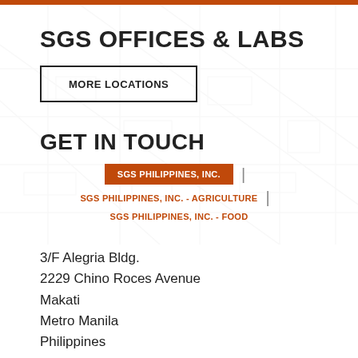SGS OFFICES & LABS
MORE LOCATIONS
GET IN TOUCH
SGS PHILIPPINES, INC. | SGS PHILIPPINES, INC. - AGRICULTURE | SGS PHILIPPINES, INC. - FOOD
3/F Alegria Bldg.
2229 Chino Roces Avenue
Makati
Metro Manila
Philippines
1231